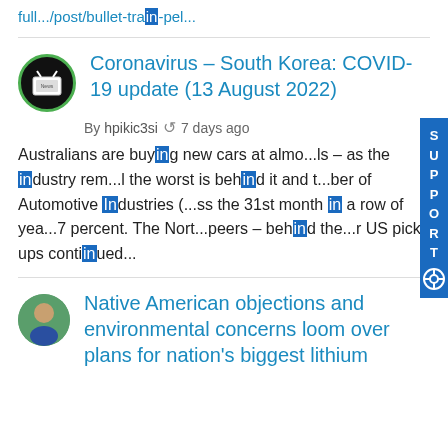full.../post/bullet-train-pel...
Coronavirus – South Korea: COVID-19 update (13 August 2022)
By hpikic3si  7 days ago
Australians are buying new cars at almo...ls – as the industry rem...l the worst is behind it and t...ber of Automotive Industries (...ss the 31st month in a row of yea...7 percent. The Nort...peers – behind the...r US pick-ups continued...
Native American objections and environmental concerns loom over plans for nation's biggest lithium